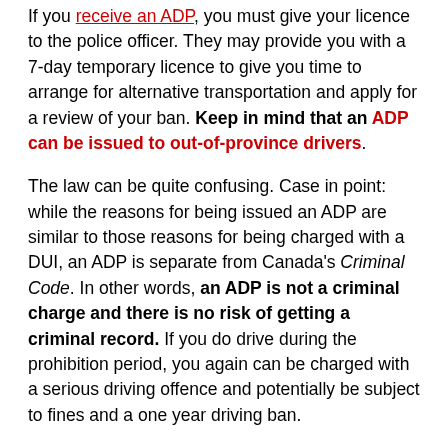If you receive an ADP, you must give your licence to the police officer. They may provide you with a 7-day temporary licence to give you time to arrange for alternative transportation and apply for a review of your ban. Keep in mind that an ADP can be issued to out-of-province drivers.
The law can be quite confusing. Case in point: while the reasons for being issued an ADP are similar to those reasons for being charged with a DUI, an ADP is separate from Canada's Criminal Code. In other words, an ADP is not a criminal charge and there is no risk of getting a criminal record. If you do drive during the prohibition period, you again can be charged with a serious driving offence and potentially be subject to fines and a one year driving ban.
By law, you will never receive both an IRP and an ADP from the same incident. If you are issued one or the other, you have seven days from the date the